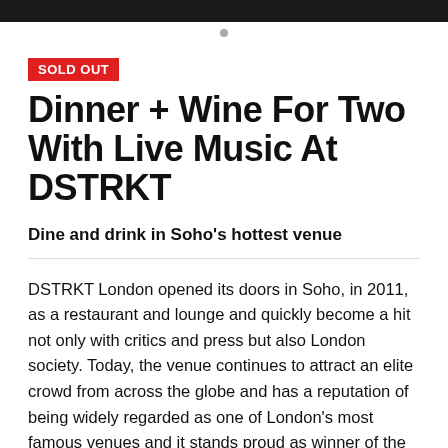SOLD OUT
Dinner + Wine For Two With Live Music At DSTRKT
Dine and drink in Soho's hottest venue
DSTRKT London opened its doors in Soho, in 2011, as a restaurant and lounge and quickly become a hit not only with critics and press but also London society. Today, the venue continues to attract an elite crowd from across the globe and has a reputation of being widely regarded as one of London's most famous venues and it stands proud as winner of the London Club & Bar Awards 2015 for a third year in a row. They've received distinct recognition for a